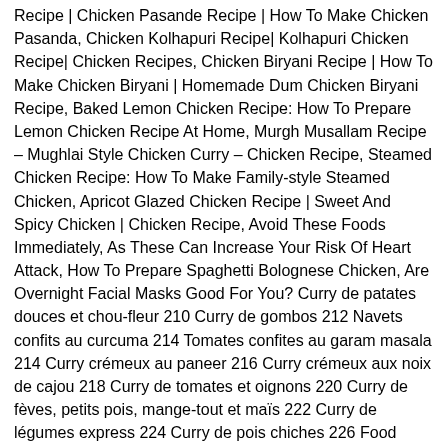Recipe | Chicken Pasande Recipe | How To Make Chicken Pasanda, Chicken Kolhapuri Recipe| Kolhapuri Chicken Recipe| Chicken Recipes, Chicken Biryani Recipe | How To Make Chicken Biryani | Homemade Dum Chicken Biryani Recipe, Baked Lemon Chicken Recipe: How To Prepare Lemon Chicken Recipe At Home, Murgh Musallam Recipe – Mughlai Style Chicken Curry – Chicken Recipe, Steamed Chicken Recipe: How To Make Family-style Steamed Chicken, Apricot Glazed Chicken Recipe | Sweet And Spicy Chicken | Chicken Recipe, Avoid These Foods Immediately, As These Can Increase Your Risk Of Heart Attack, How To Prepare Spaghetti Bolognese Chicken, Are Overnight Facial Masks Good For You? Curry de patates douces et chou-fleur 210 Curry de gombos 212 Navets confits au curcuma 214 Tomates confites au garam masala 214 Curry crémeux au paneer 216 Curry crémeux aux noix de cajou 218 Curry de tomates et oignons 220 Curry de fèves, petits pois, mange-tout et maïs 222 Curry de légumes express 224 Curry de pois chiches 226 Food writer Petrina Verma Sarkar is a native of India with an extensive knowledge of the